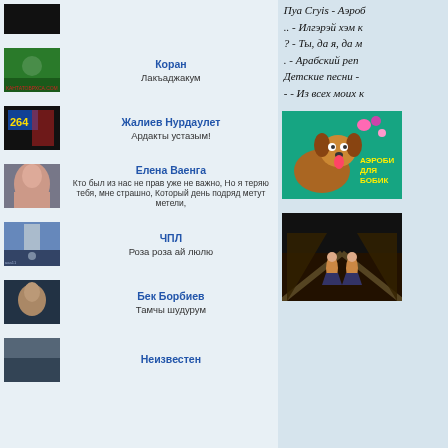(partial top black thumbnail)
Коран — Лакъаджакум
Жалиев Нурдаулет — Ардакты устазым!
Елена Ваенга — Кто был из нас не прав уже не важно, Но я теряю тебя, мне страшно, Который день подряд метут метели,
ЧПЛ — Роза роза ай люлю
Бек Борбиев — Тамчы шудурум
Неизвестен
Пуа Cryis - Аэроб
.. - Илгэрэй хэм к
? - Ты, да я, да м
. - Арабский реп
Детские песни -
- - Из всех моих к
[Figure (illustration): Cartoon dog with tongue out, hearts, yellow text reading АЭРОБИ ДЛЯ БОБИК on teal/sparkle background]
[Figure (photo): Dark performance/dance scene with two figures, diagonal geometric shapes, warm tones]